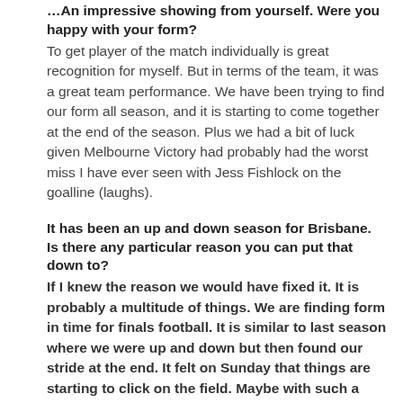An impressive showing from yourself. Were you happy with your form?
To get player of the match individually is great recognition for myself. But in terms of the team, it was a great team performance. We have been trying to find our form all season, and it is starting to come together at the end of the season. Plus we had a bit of luck given Melbourne Victory had probably had the worst miss I have ever seen with Jess Fishlock on the goalline (laughs).
It has been an up and down season for Brisbane. Is there any particular reason you can put that down to?
If I knew the reason we would have fixed it. It is probably a multitude of things. We are finding form in time for finals football. It is similar to last season where we were up and down but then found our stride at the end. It felt on Sunday that things are starting to click on the field. Maybe with such a short season in the W-League, you have to be completely ready come Round One.